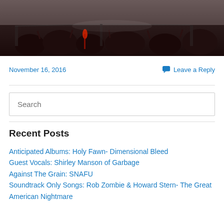[Figure (photo): Concert photo showing crowd and stage with dark background and red elements]
November 16, 2016
Leave a Reply
Search
Recent Posts
Anticipated Albums: Holy Fawn- Dimensional Bleed
Guest Vocals: Shirley Manson of Garbage
Against The Grain: SNAFU
Soundtrack Only Songs: Rob Zombie & Howard Stern- The Great American Nightmare
New Release:Rait Revier Samson Ricin...